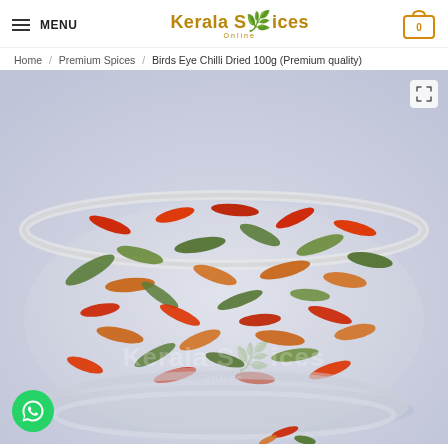MENU | Kerala Spices Online | 0
Home / Premium Spices / Birds Eye Chilli Dried 100g (Premium quality)
[Figure (photo): A glass bowl filled with dried birds eye chillis in red, green, and orange colors on a light blue-white background. Kerala Spices Online watermark overlay.]